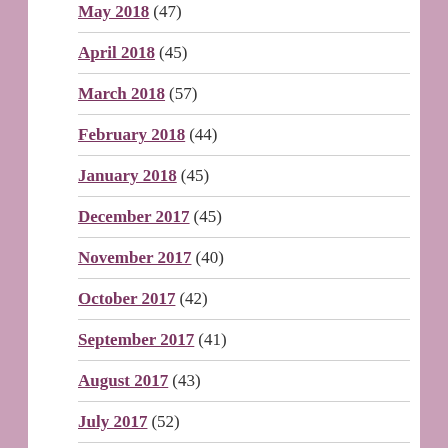May 2018 (47)
April 2018 (45)
March 2018 (57)
February 2018 (44)
January 2018 (45)
December 2017 (45)
November 2017 (40)
October 2017 (42)
September 2017 (41)
August 2017 (43)
July 2017 (52)